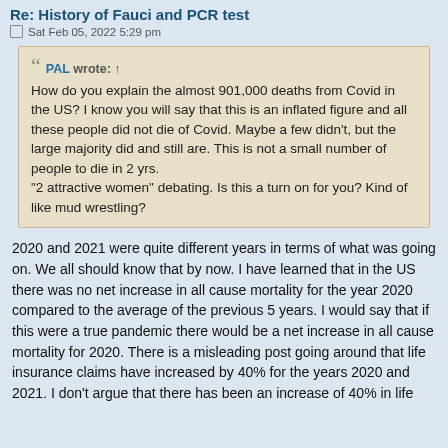Re: History of Fauci and PCR test
Sat Feb 05, 2022 5:29 pm
PAL wrote: ↑
How do you explain the almost 901,000 deaths from Covid in the US? I know you will say that this is an inflated figure and all these people did not die of Covid. Maybe a few didn't, but the large majority did and still are. This is not a small number of people to die in 2 yrs.
"2 attractive women" debating. Is this a turn on for you? Kind of like mud wrestling?
2020 and 2021 were quite different years in terms of what was going on. We all should know that by now. I have learned that in the US there was no net increase in all cause mortality for the year 2020 compared to the average of the previous 5 years. I would say that if this were a true pandemic there would be a net increase in all cause mortality for 2020. There is a misleading post going around that life insurance claims have increased by 40% for the years 2020 and 2021. I don't argue that there has been an increase of 40% in life